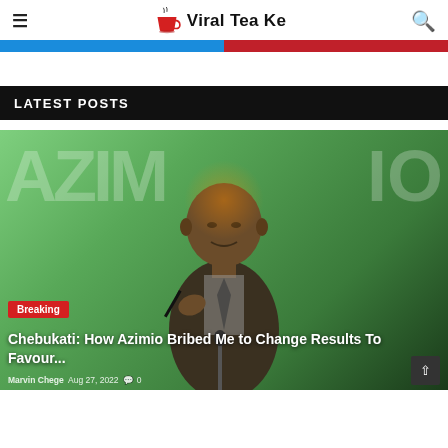Viral Tea Ke
LATEST POSTS
[Figure (photo): A man in a suit speaking at a podium with microphone in front of a green background]
Chebukati: How Azimio Bribed Me to Change Results To Favour...
Marvin Chege  Aug 27, 2022  0